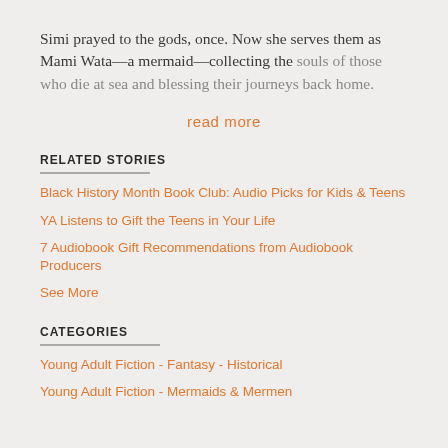Simi prayed to the gods, once. Now she serves them as Mami Wata—a mermaid—collecting the souls of those who die at sea and blessing their journeys back home.
read more
RELATED STORIES
Black History Month Book Club: Audio Picks for Kids & Teens
YA Listens to Gift the Teens in Your Life
7 Audiobook Gift Recommendations from Audiobook Producers
See More
CATEGORIES
Young Adult Fiction - Fantasy - Historical
Young Adult Fiction - Mermaids & Mermen